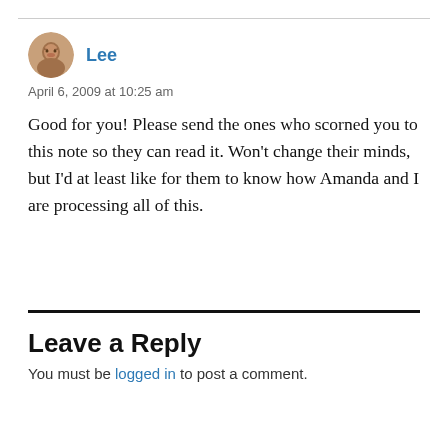[Figure (photo): Avatar photo of commenter Lee — small circular portrait of an older man]
Lee
April 6, 2009 at 10:25 am
Good for you! Please send the ones who scorned you to this note so they can read it. Won’t change their minds, but I’d at least like for them to know how Amanda and I are processing all of this.
Leave a Reply
You must be logged in to post a comment.